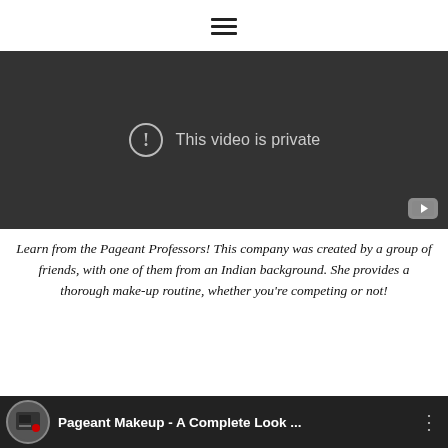[Figure (screenshot): Hamburger menu icon (three horizontal lines) at top center of page]
[Figure (screenshot): Embedded video player showing dark background with 'This video is private' message and YouTube logo in bottom right corner]
Learn from the Pageant Professors! This company was created by a group of friends, with one of them from an Indian background. She provides a thorough make-up routine, whether you're competing or not!
[Figure (screenshot): YouTube video thumbnail bar showing 'Pageant Makeup - A Complete Look ...' with circular logo on left and three-dot menu on right]